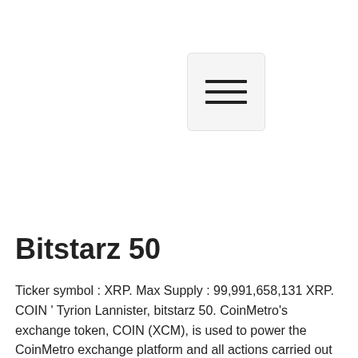[Figure (other): Hamburger menu button icon with three horizontal bars inside a rounded square button]
Bitstarz 50
Ticker symbol : XRP. Max Supply : 99,991,658,131 XRP. COIN ’ Tyrion Lannister, bitstarz 50. CoinMetro’s exchange token, COIN (XCM), is used to power the CoinMetro exchange platform and all actions carried out in the growing ecosystem are